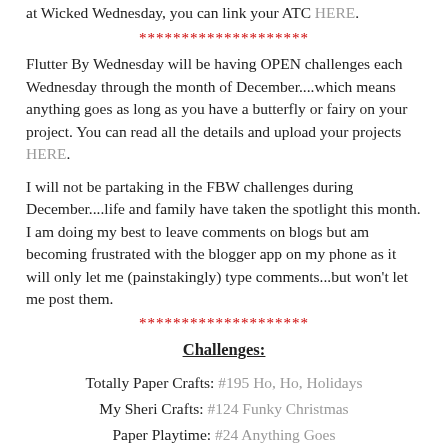at Wicked Wednesday, you can link your ATC HERE.
********************
Flutter By Wednesday will be having OPEN challenges each Wednesday through the month of December....which means anything goes as long as you have a butterfly or fairy on your project. You can read all the details and upload your projects HERE.
I will not be partaking in the FBW challenges during December....life and family have taken the spotlight this month. I am doing my best to leave comments on blogs but am becoming frustrated with the blogger app on my phone as it will only let me (painstakingly) type comments...but won't let me post them.
********************
Challenges:
Totally Paper Crafts: #195 Ho, Ho, Holidays
My Sheri Crafts: #124 Funky Christmas
Paper Playtime: #24 Anything Goes